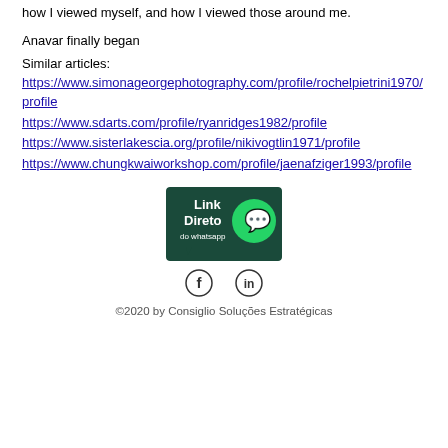how I viewed myself, and how I viewed those around me.
Anavar finally began
Similar articles:
https://www.simonageorgephotography.com/profile/rochelpietrini1970/profile
https://www.sdarts.com/profile/ryanridges1982/profile
https://www.sisterlakescia.org/profile/nikivogtlin1971/profile
https://www.chungkwaiworkshop.com/profile/jaenafziger1993/profile
[Figure (illustration): Link Direto do WhatsApp promotional banner with WhatsApp logo on dark teal background]
[Figure (illustration): Social media icons: Facebook (f) and LinkedIn (in)]
©2020 by Consiglio Soluções Estratégicas